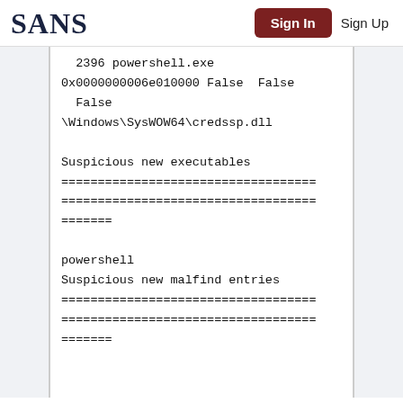SANS  Sign In  Sign Up
2396 powershell.exe
0x0000000006e010000 False  False
 False
\Windows\SysWOW64\credssp.dll

Suspicious new executables
===================================
===================================
=======

powershell
Suspicious new malfind entries
===================================
===================================
=======